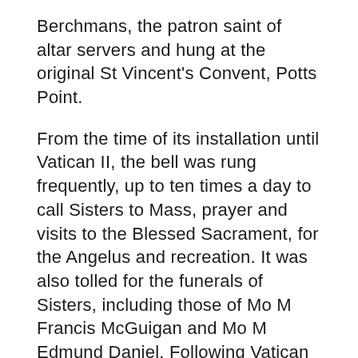Berchmans, the patron saint of altar servers and hung at the original St Vincent's Convent, Potts Point.
From the time of its installation until Vatican II, the bell was rung frequently, up to ten times a day to call Sisters to Mass, prayer and visits to the Blessed Sacrament, for the Angelus and recreation. It was also tolled for the funerals of Sisters, including those of Mo M Francis McGuigan and Mo M Edmund Daniel. Following Vatican II, the use of the bell was reduced to the daily midday Angelus and calling St Vincent's College students to Mass each Friday. The fond memories many in the Congregation hold of this object are shared by many in